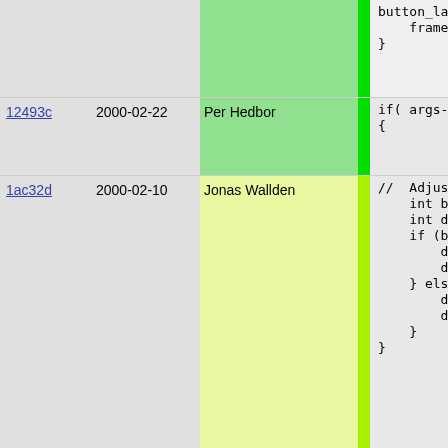| hash | date | author | bar | code |
| --- | --- | --- | --- | --- |
|  |  |  |  | button_laye
    frame->set_
} |
| 12493c | 2000-02-22 | Per Hedbor |  | if( args->dim
{ |
| 1ac32d | 2000-02-10 | Jonas Wallden |  | //  Adjust
    int bg_valu
    int dim_hig
    if (bg_valu
        dim_low =
        dim_high
    } else {
        dim_high
        dim_low =
    }
} |
| 12493c | 2000-02-22 | Per Hedbor |  | frame->set_ |
| 1ac32d | 2000-02-10 | Jonas Wallden |  | } |
| 1a5442 | 2000-02-21 | Per Hedbor |  |  |
| fde908 | 2000-02-08 | Per Hedbor |  | //  Draw icon
    if (icon) |
| 1a5442 | 2000-02-21 | Per Hedbor |  | button_laye |